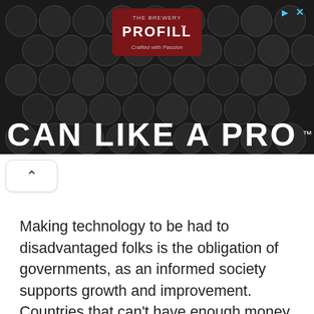[Figure (photo): Advertisement banner showing stacked metal beverage cans in dark background with a red badge reading 'PROFILL' and large white text 'CAN LIKE A PRO™']
Making technology to be had to disadvantaged folks is the obligation of governments, as an informed society supports growth and improvement. Countries that can't have enough money to make statistics era without problems available to their people, because of economic